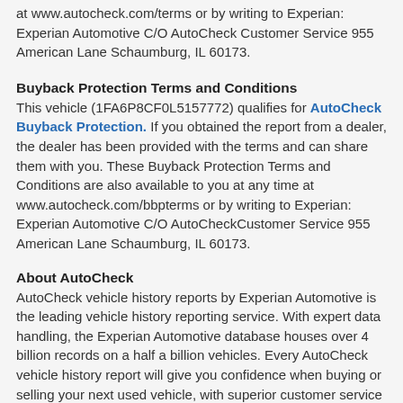at www.autocheck.com/terms or by writing to Experian: Experian Automotive C/O AutoCheck Customer Service 955 American Lane Schaumburg, IL 60173.
Buyback Protection Terms and Conditions
This vehicle (1FA6P8CF0L5157772) qualifies for AutoCheck Buyback Protection. If you obtained the report from a dealer, the dealer has been provided with the terms and can share them with you. These Buyback Protection Terms and Conditions are also available to you at any time at www.autocheck.com/bbpterms or by writing to Experian: Experian Automotive C/O AutoCheckCustomer Service 955 American Lane Schaumburg, IL 60173.
About AutoCheck
AutoCheck vehicle history reports by Experian Automotive is the leading vehicle history reporting service. With expert data handling, the Experian Automotive database houses over 4 billion records on a half a billion vehicles. Every AutoCheck vehicle history report will give you confidence when buying or selling your next used vehicle, with superior customer service every step of the way.
Patent Notice
Certain aspects of this vehicle history report may be covered by U.S. Patent 8,005,759.